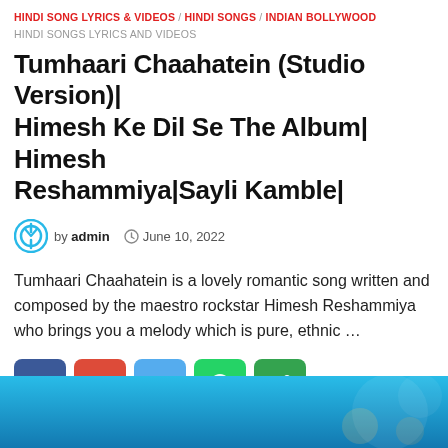HINDI SONG LYRICS & VIDEOS / HINDI SONGS / INDIAN BOLLYWOOD HINDI SONGS LYRICS AND VIDEOS
Tumhaari Chaahatein (Studio Version)| Himesh Ke Dil Se The Album| Himesh Reshammiya|Sayli Kamble|
by admin   June 10, 2022
Tumhaari Chaahatein is a lovely romantic song written and composed by the maestro rockstar Himesh Reshammiya who brings you a melody which is pure, ethnic …
[Figure (infographic): Social sharing buttons: Facebook (blue), Google+ (red), Twitter (light blue), WhatsApp (green), Share (dark green)]
[Figure (screenshot): Video thumbnail - blue background with decorative elements]